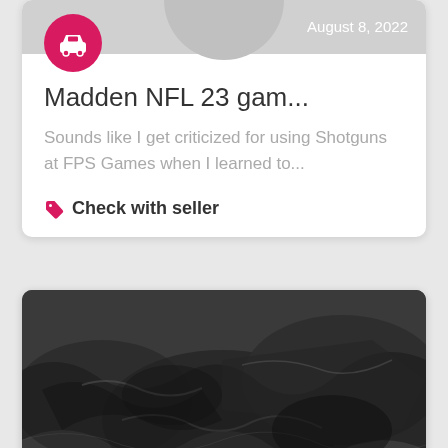August 8, 2022
Madden NFL 23 gam...
Sounds like I get criticized for using Shotguns at FPS Games when I learned to...
Check with seller
[Figure (photo): Dark grayscale photo showing what appears to be a pile of weapons or military equipment]